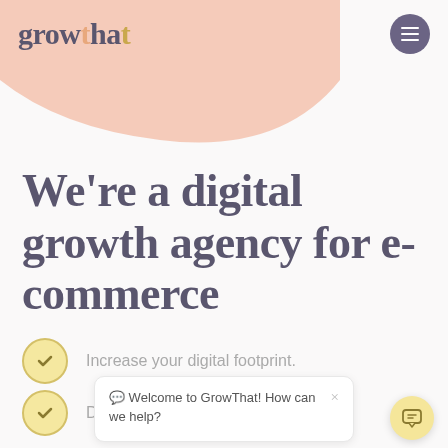[Figure (logo): growthat logo with decorative dot accent and hamburger menu button on right]
[Figure (illustration): Pink/salmon curved blob shape in top-left area behind header]
We're a digital growth agency for e-commerce
Increase your digital footprint.
Drive revenue growth.
💬 Welcome to GrowThat! How can we help?